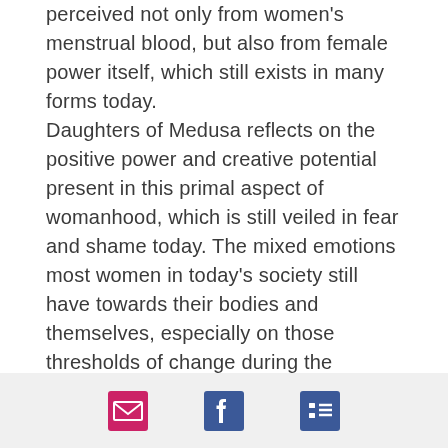perceived not only from women's menstrual blood, but also from female power itself, which still exists in many forms today. Daughters of Medusa reflects on the positive power and creative potential present in this primal aspect of womanhood, which is still veiled in fear and shame today. The mixed emotions most women in today's society still have towards their bodies and themselves, especially on those thresholds of change during the menarche and menopause, exemplify Medusa's legacy. Rebecca was fascinated by the many negative and disturbed reactions she had from female viewers for washing the lower
[email icon] [facebook icon] [list icon]